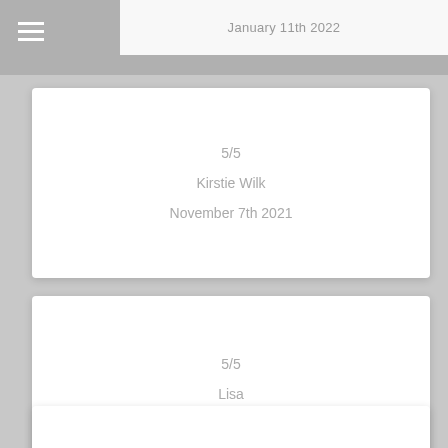January 11th 2022
5/5
Kirstie Wilk
November 7th 2021
5/5
Lisa
October 31st 2021